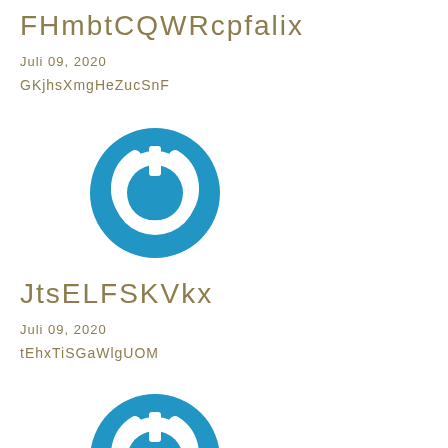FHmbtCQWRcpfalix
Juli 09, 2020
GKjhsXmgHeZucSnF
[Figure (illustration): Blue circular power button icon on white background]
JtsELFSKVkx
Juli 09, 2020
tEhxTiSGaWlgUOM
[Figure (illustration): Blue circular power button icon on white background, partially cropped]